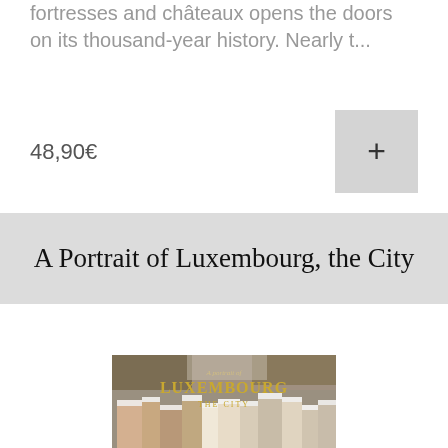fortresses and châteaux opens the doors on its thousand-year history. Nearly t...
48,90€
A Portrait of Luxembourg, the City
[Figure (photo): Book cover of 'A Portrait of Luxembourg, The City' showing a winter aerial view of Luxembourg city with snow-covered rooftops and the text 'LUXEMBOURG THE CITY' in gold lettering]